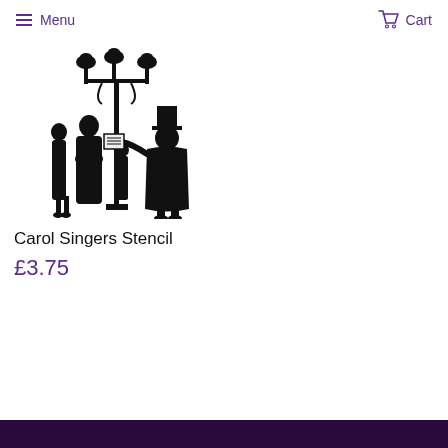Menu  Cart
[Figure (illustration): Black silhouette illustration of Victorian carol singers standing around a gas lamp post. The group includes adults and children in period clothing, with one adult holding sheet music.]
Carol Singers Stencil
£3.75